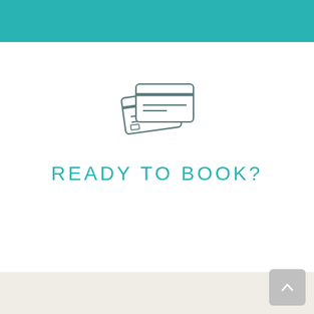[Figure (illustration): Two overlapping credit/payment cards drawn as line icons in teal/gray style]
READY TO BOOK?
[Figure (other): Gray rounded square button with upward-pointing chevron arrow, positioned bottom-right]